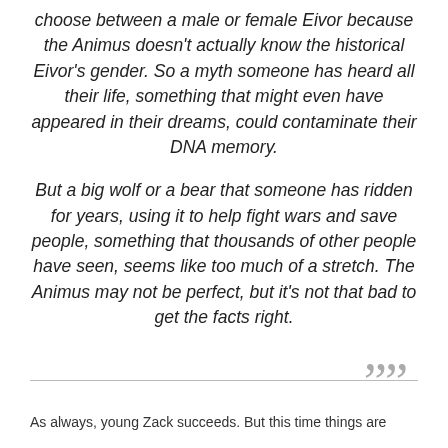choose between a male or female Eivor because the Animus doesn't actually know the historical Eivor's gender. So a myth someone has heard all their life, something that might even have appeared in their dreams, could contaminate their DNA memory.

But a big wolf or a bear that someone has ridden for years, using it to help fight wars and save people, something that thousands of other people have seen, seems like too much of a stretch. The Animus may not be perfect, but it's not that bad to get the facts right.
””
As always, young Zack succeeds. But this time things are